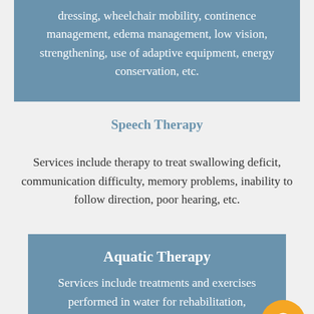dressing, wheelchair mobility, continence management, edema management, low vision, strengthening, use of adaptive equipment, energy conservation, etc.
Speech Therapy
Services include therapy to treat swallowing deficit, communication difficulty, memory problems, inability to follow direction, poor hearing, etc.
Aquatic Therapy
Services include treatments and exercises performed in water for rehabilitation, fitness...